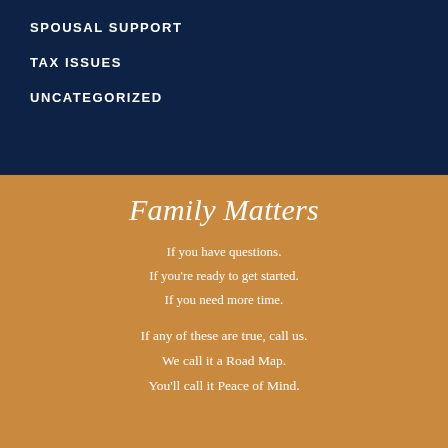SPOUSAL SUPPORT
TAX ISSUES
UNCATEGORIZED
Family Matters
If you have questions.
If you're ready to get started.
If you need more time.
If any of these are true, call us.
We call it a Road Map.
You'll call it Peace of Mind.